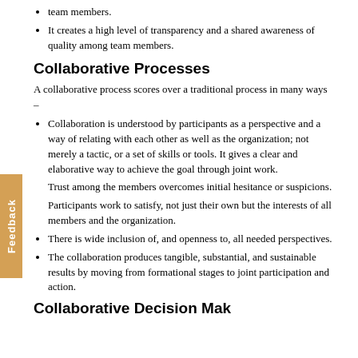team members.
It creates a high level of transparency and a shared awareness of quality among team members.
Collaborative Processes
A collaborative process scores over a traditional process in many ways –
Collaboration is understood by participants as a perspective and a way of relating with each other as well as the organization; not merely a tactic, or a set of skills or tools. It gives a clear and elaborative way to achieve the goal through joint work.
Trust among the members overcomes initial hesitance or suspicions.
Participants work to satisfy, not just their own but the interests of all members and the organization.
There is wide inclusion of, and openness to, all needed perspectives.
The collaboration produces tangible, substantial, and sustainable results by moving from formational stages to joint participation and action.
Collaborative Decision Making